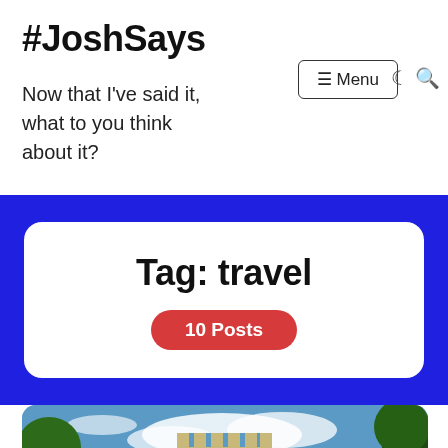#JoshSays
Now that I've said it, what to you think about it?
Tag: travel
10 Posts
[Figure (photo): Photo of a medieval castle with battlements, set against a partly cloudy blue sky, with trees on either side.]